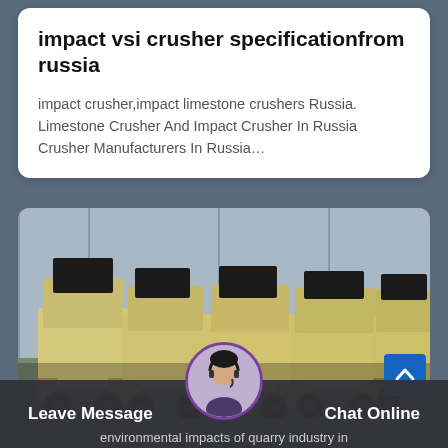impact vsi crusher specificationfrom russia
impact crusher,impact limestone crushers Russia. Limestone Crusher And Impact Crusher In Russia Crusher Manufacturers In Russia…
[Figure (photo): Multiple yellow industrial impact crushers lined up in a row outside a factory building]
Leave Message
Chat Online
environmental impacts of quarry industry in